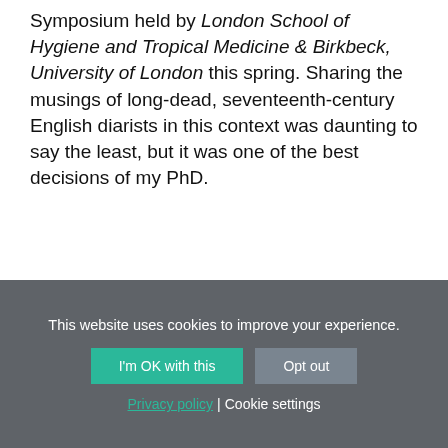Symposium held by London School of Hygiene and Tropical Medicine & Birkbeck, University of London this spring. Sharing the musings of long-dead, seventeenth-century English diarists in this context was daunting to say the least, but it was one of the best decisions of my PhD.
This website uses cookies to improve your experience.
I'm OK with this
Opt out
Privacy policy | Cookie settings